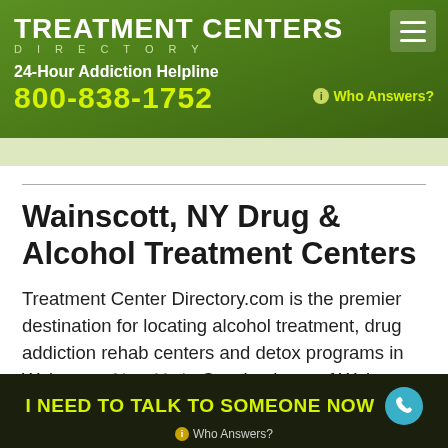TREATMENT CENTERS DIRECTORY
24-Hour Addiction Helpline 800-838-1752 Who Answers?
Wainscott, NY Drug & Alcohol Treatment Centers
Treatment Center Directory.com is the premier destination for locating alcohol treatment, drug addiction rehab centers and detox programs in Wainscott, New York. Our database of Wainscott treatment centers includes 1 centers, facilities and doctors.
I NEED TO TALK TO SOMEONE NOW Who Answers?